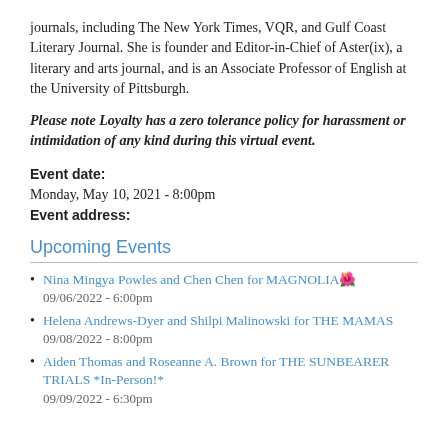journals, including The New York Times, VQR, and Gulf Coast Literary Journal. She is founder and Editor-in-Chief of Aster(ix), a literary and arts journal, and is an Associate Professor of English at the University of Pittsburgh.
Please note Loyalty has a zero tolerance policy for harassment or intimidation of any kind during this virtual event.
Event date:
Monday, May 10, 2021 - 8:00pm
Event address:
Upcoming Events
Nina Mingya Powles and Chen Chen for MAGNOLIA🌺
09/06/2022 - 6:00pm
Helena Andrews-Dyer and Shilpi Malinowski for THE MAMAS
09/08/2022 - 8:00pm
Aiden Thomas and Roseanne A. Brown for THE SUNBEARER TRIALS *In-Person!*
09/09/2022 - 6:30pm